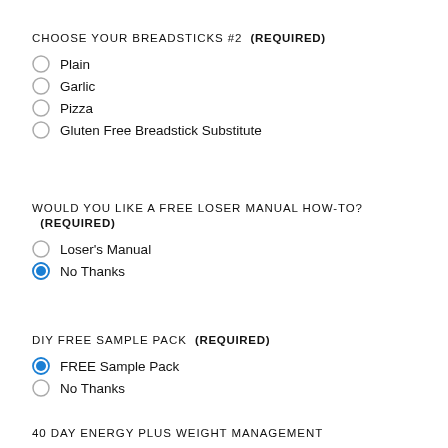CHOOSE YOUR BREADSTICKS #2 (REQUIRED)
Plain
Garlic
Pizza
Gluten Free Breadstick Substitute
WOULD YOU LIKE A FREE LOSER MANUAL HOW-TO? (REQUIRED)
Loser's Manual
No Thanks (selected)
DIY FREE SAMPLE PACK (REQUIRED)
FREE Sample Pack (selected)
No Thanks
40 DAY ENERGY PLUS WEIGHT MANAGEMENT